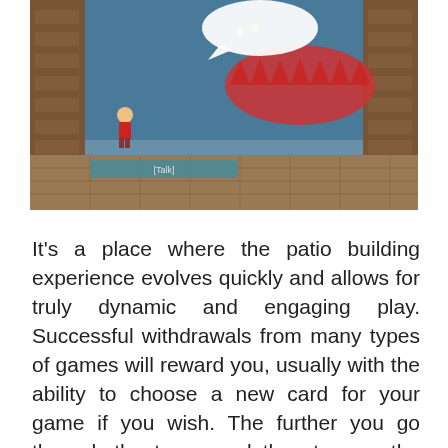[Figure (screenshot): A video game screenshot showing a character in a dungeon/patio area facing a large red creature/enemy. There is a speech bubble visible at the top and a '[Talk]' dialogue bar near the bottom of the screen.]
It's a place where the patio building experience evolves quickly and allows for truly dynamic and engaging play. Successful withdrawals from many types of games will reward you, usually with the ability to choose a new card for your game if you wish. The further you go through the tower and the stronger the enemies you defeat, the better your rewards and the stronger the cards you get in this race. This will be one of the most important decisions you have to make when you cross the bell tower. Do you choose easier routes with fewer rewards and less powerful cards, or do you choose harder routes and risk defeat to gain more